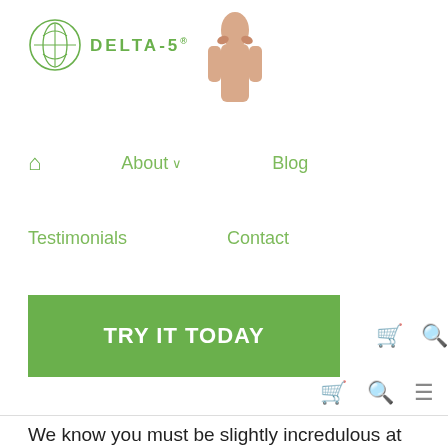[Figure (logo): Delta-5 brand logo with circular leaf/plant icon and DELTA-5 text in green, accompanied by a model photo of a woman touching her face]
Home  About ∨  Blog  Testimonials  Contact
[Figure (other): Green TRY IT TODAY call-to-action button with shopping cart and search icons]
[Figure (other): Mobile navigation row with cart, search, and hamburger menu icons in gray]
We know you must be slightly incredulous at the idea of one product addressing all of these skin concerns; however Delta-5 has